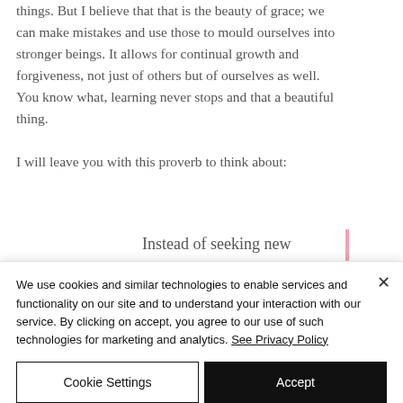things. But I believe that that is the beauty of grace; we can make mistakes and use those to mould ourselves into stronger beings. It allows for continual growth and forgiveness, not just of others but of ourselves as well. You know what, learning never stops and that a beautiful thing.
I will leave you with this proverb to think about:
Instead of seeking new
We use cookies and similar technologies to enable services and functionality on our site and to understand your interaction with our service. By clicking on accept, you agree to our use of such technologies for marketing and analytics. See Privacy Policy